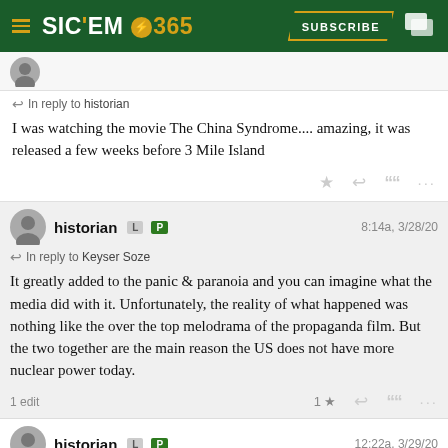SIC'EM 365 — SUBSCRIBE
In reply to historian
I was watching the movie The China Syndrome.... amazing, it was released a few weeks before 3 Mile Island
historian  L  P  8:14a, 3/28/20
In reply to Keyser Soze
It greatly added to the panic & paranoia and you can imagine what the media did with it. Unfortunately, the reality of what happened was nothing like the over the top melodrama of the propaganda film. But the two together are the main reason the US does not have more nuclear power today.
1 edit
historian  L  P  12:22a, 3/29/20
March 29:
1865: Beginning of the Appomattox campaign, the final campaign of the Civil War. Gen. Robert E. Lee desperately tried to avoid the inevitable but after a few weeks he was forced to surrender.